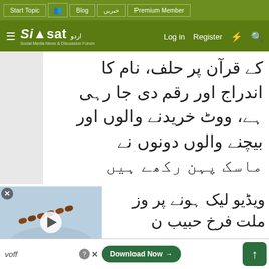Siasat - Social Media News & Discussion Forum. Navigation: Start Topic, Blog, خبریں, Premium Member, Log in, Register
کے قرآن پر حلف، نام کا اندراج اور رقم دی جا رہی ہے، ووٹ خریدنے والوں اور بیچنے والوں دونوں نے ماسک پہن رکھے ہیں
[Figure (screenshot): Video thumbnail showing a tasbih (prayer beads) on a blue surface, with play button overlay]
ویڈیو لیک ہونے پر وزیر ملت فرخ حبیب نے ووٹ
[Figure (screenshot): Download Now advertisement button with question mark icon and X close button]